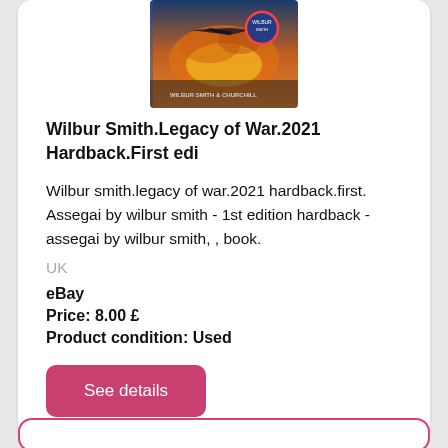[Figure (photo): Book cover image of Wilbur Smith Legacy of War showing a dramatic wartime scene with aircraft and explosions]
Wilbur Smith.Legacy of War.2021 Hardback.First edi
Wilbur smith.legacy of war.2021 hardback.first. Assegai by wilbur smith - 1st edition hardback - assegai by wilbur smith, , book.
UK
eBay
Price: 8.00 £
Product condition: Used
See details